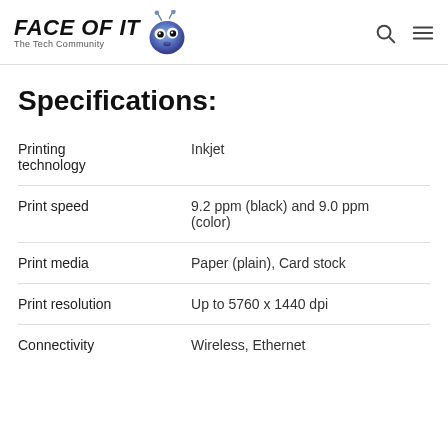FACE OF IT The Tech Community
Specifications:
|  |  |
| --- | --- |
| Printing technology | Inkjet |
| Print speed | 9.2 ppm (black) and 9.0 ppm (color) |
| Print media | Paper (plain), Card stock |
| Print resolution | Up to 5760 x 1440 dpi |
| Connectivity | Wireless, Ethernet |